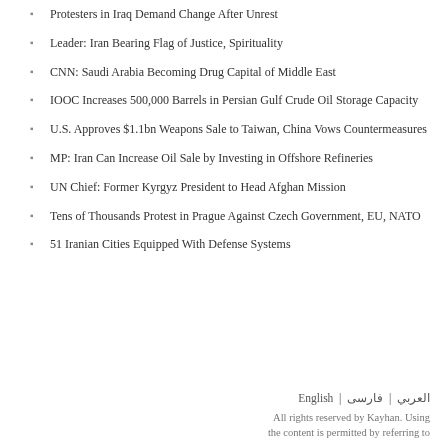Protesters in Iraq Demand Change After Unrest
Leader: Iran Bearing Flag of Justice, Spirituality
CNN: Saudi Arabia Becoming Drug Capital of Middle East
IOOC Increases 500,000 Barrels in Persian Gulf Crude Oil Storage Capacity
U.S. Approves $1.1bn Weapons Sale to Taiwan, China Vows Countermeasures
MP: Iran Can Increase Oil Sale by Investing in Offshore Refineries
UN Chief: Former Kyrgyz President to Head Afghan Mission
Tens of Thousands Protest in Prague Against Czech Government, EU, NATO
51 Iranian Cities Equipped With Defense Systems
English | العربي | فارسی
All rights reserved by Kayhan. Using the content is permitted by referring to